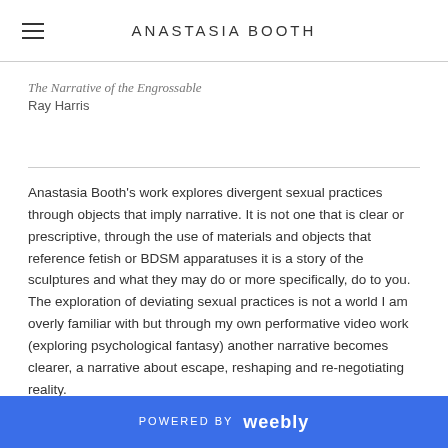ANASTASIA BOOTH
The Narrative of the Engrossable
Ray Harris
Anastasia Booth's work explores divergent sexual practices through objects that imply narrative. It is not one that is clear or prescriptive, through the use of materials and objects that reference fetish or BDSM apparatuses it is a story of the sculptures and what they may do or more specifically, do to you. The exploration of deviating sexual practices is not a world I am overly familiar with but through my own performative video work (exploring psychological fantasy) another narrative becomes clearer, a narrative about escape, reshaping and re-negotiating reality.
POWERED BY weebly